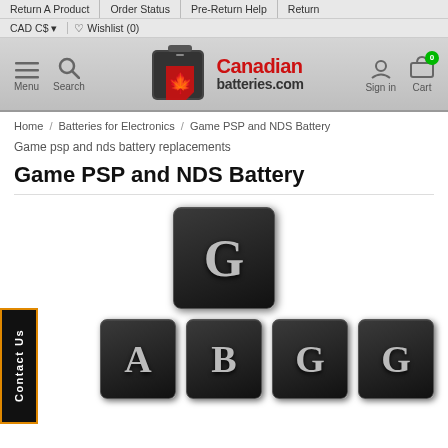Return A Product | Order Status | Pre-Return Help | Return | CAD C$ | Wishlist (0)
[Figure (logo): Canadian batteries.com logo with battery and maple leaf icon, red and dark grey colors]
Home / Batteries for Electronics / Game PSP and NDS Battery
Game psp and nds battery replacements
Game PSP and NDS Battery
[Figure (illustration): Grid of dark square letter tiles with metallic letters: one large G tile centered, then a row of four smaller tiles showing A, B, G, G]
Contact Us